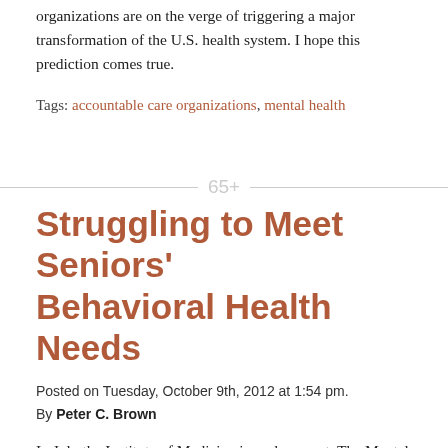organizations are on the verge of triggering a major transformation of the U.S. health system. I hope this prediction comes true.
Tags: accountable care organizations, mental health
65+
Struggling to Meet Seniors' Behavioral Health Needs
Posted on Tuesday, October 9th, 2012 at 1:54 pm.
By Peter C. Brown
In July the Institute of Medicine issued a report, The Mental Health and Substance Use Workforce for Older Adults: In Whose Hands?  The point of the report was to call serious attention to the growing inability of the health care workforce to meet the behavioral health needs of the